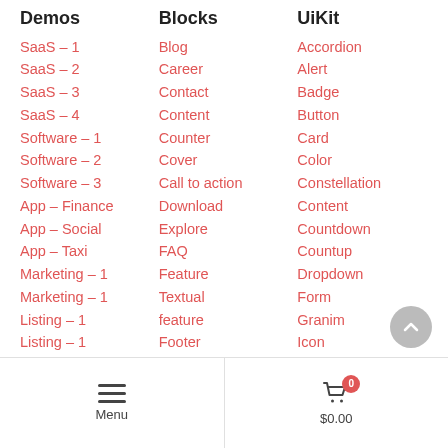Demos
SaaS – 1
SaaS – 2
SaaS – 3
SaaS – 4
Software – 1
Software – 2
Software – 3
App – Finance
App – Social
App – Taxi
Marketing – 1
Marketing – 1
Listing – 1
Listing – 1
Finance
Blocks
Blog
Career
Contact
Content
Counter
Cover
Call to action
Download
Explore
FAQ
Feature
Textual feature
Footer
Gallery
Header
UiKit
Accordion
Alert
Badge
Button
Card
Color
Constellation
Content
Countdown
Countup
Dropdown
Form
Granim
Icon
Image
Lightbox
Menu | $0.00